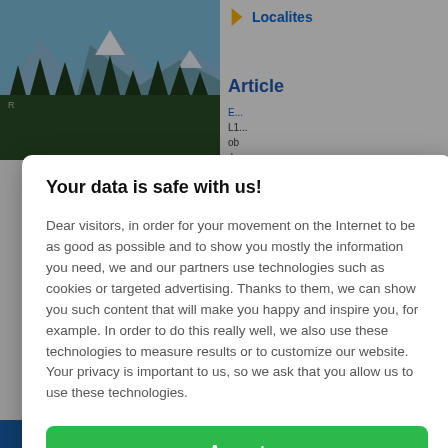[Figure (photo): Background webpage screenshot showing a mountain/forest photo on left and article content with 'Localites' link and 'Article' heading on right, partially obscured by modal dialog]
Your data is safe with us!
Dear visitors, in order for your movement on the Internet to be as good as possible and to show you mostly the information you need, we and our partners use technologies such as cookies or targeted advertising. Thanks to them, we can show you such content that will make you happy and inspire you, for example. In order to do this really well, we also use these technologies to measure results or to customize our website. Your privacy is important to us, so we ask that you allow us to use these technologies.
Accept
Deny
Set